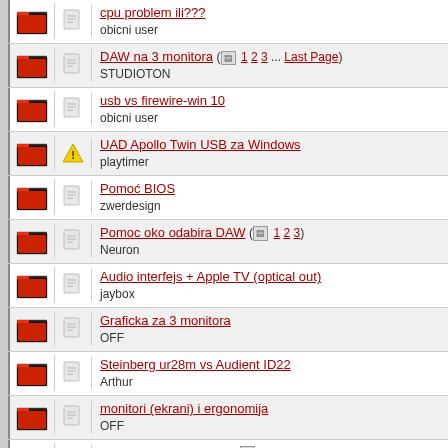cpu problem ili??? obicni user
DAW na 3 monitora (1 2 3 ... Last Page) STUDIOTON
usb vs firewire-win 10 obicni user
UAD Apollo Twin USB za Windows playtimer
Pomoć BIOS zwerdesign
Pomoc oko odabira DAW (1 2 3) Neuron
Audio interfejs + Apple TV (optical out) jaybox
Graficka za 3 monitora OFF
Steinberg ur28m vs Audient ID22 Arthur
monitori (ekrani) i ergonomija OFF
Sta bi ovde promenili ? (1 2) 66musicman
Lynx Studio E44 66musicman